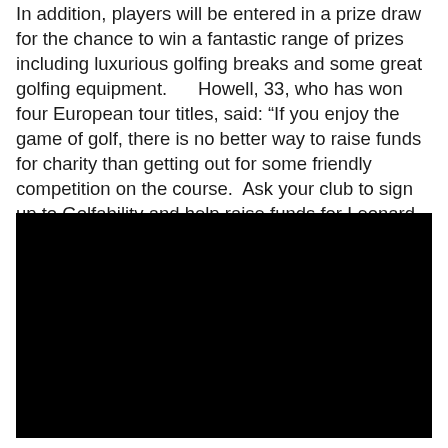In addition, players will be entered in a prize draw for the chance to win a fantastic range of prizes including luxurious golfing breaks and some great golfing equipment.      Howell, 33, who has won four European tour titles, said: “If you enjoy the game of golf, there is no better way to raise funds for charity than getting out for some friendly competition on the course.  Ask your club to sign up to Golfability and help raise funds for Leonard Cheshire Disability.”
[Figure (photo): A large black rectangular image block, appearing to be a photo or video frame with no visible content (fully black).]